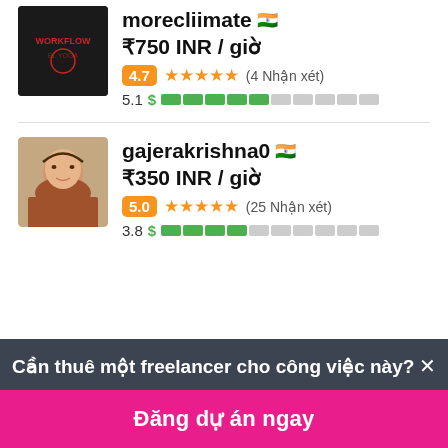[Figure (photo): Dark profile avatar with logo/text on black background]
morecliimate 🇮🇳
₹750 INR / giờ
4.7 ★★★★★ (4 Nhận xét)
5.1 $ ████░░░░░░
[Figure (photo): Profile photo of gajerakrishna0, young woman]
gajerakrishna0 🇮🇳
₹350 INR / giờ
5.0 ★★★★★ (25 Nhận xét)
3.8 $ ████░░░░░░
Cần thuê một freelancer cho công việc này? ×
Đăng dự án ngay